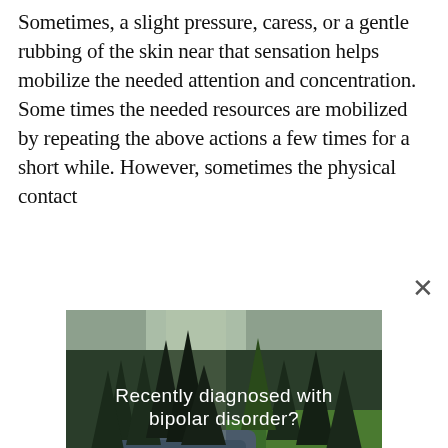Sometimes, a slight pressure, caress, or a gentle rubbing of the skin near that sensation helps mobilize the needed attention and concentration. Some times the needed resources are mobilized by repeating the above actions a few times for a short while. However, sometimes the physical contact
[Figure (photo): Advertisement image showing a forest and river landscape with text overlay: 'Recently diagnosed with bipolar disorder? DOWNLOAD OUR FREE EBOOK NOW.' with a horizontal underline beneath the text.]
advertisement